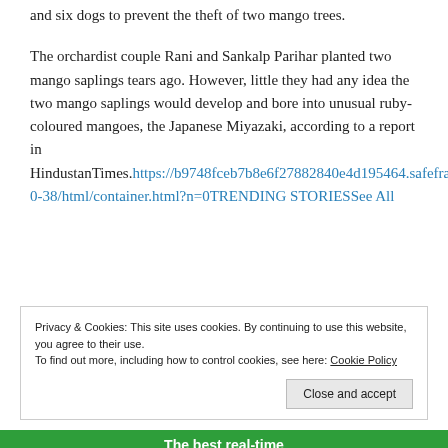and six dogs to prevent the theft of two mango trees.
The orchardist couple Rani and Sankalp Parihar planted two mango saplings tears ago. However, little they had any idea the two mango saplings would develop and bore into unusual ruby-coloured mangoes, the Japanese Miyazaki, according to a report in HindustanTimes. https://b9748fceb7b8e6f27882840e4d195464.safeframe.googlesyndication.com/safeframe/1-0-38/html/container.html?n=0TRENDING STORIESSee All
Privacy & Cookies: This site uses cookies. By continuing to use this website, you agree to their use. To find out more, including how to control cookies, see here: Cookie Policy Close and accept
The best real-time